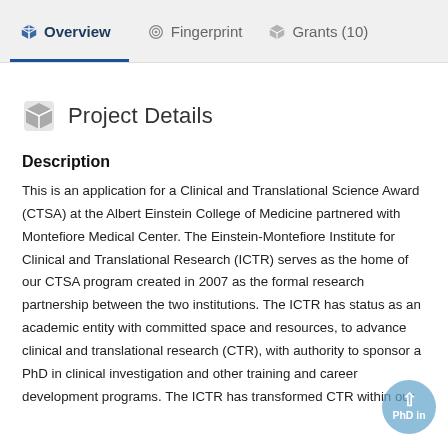Overview  Fingerprint  Grants (10)
Project Details
Description
This is an application for a Clinical and Translational Science Award (CTSA) at the Albert Einstein College of Medicine partnered with Montefiore Medical Center. The Einstein-Montefiore Institute for Clinical and Translational Research (ICTR) serves as the home of our CTSA program created in 2007 as the formal research partnership between the two institutions. The ICTR has status as an academic entity with committed space and resources, to advance clinical and translational research (CTR), with authority to sponsor a PhD in clinical investigation and other training and career development programs. The ICTR has transformed CTR within our